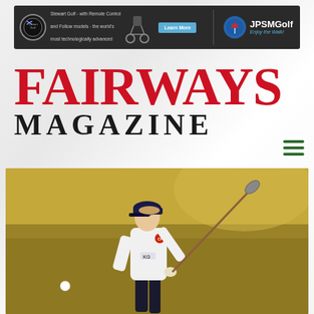[Figure (infographic): Stewart Golf and JPSMGolf advertisement banner. Left side shows StewartGolf logo with text: 'Stewart Golf - with Remote Control and Follow models - the world's most technologically advanced golf trolleys' and a 'Learn More' button with golf trolley image. Right side shows JPSMGolf logo with tagline 'Enjoy the Walk!']
FAIRWAYS MAGAZINE
[Figure (photo): Female golfer mid-swing hitting a shot, wearing white long-sleeve shirt with KG and CP logos, dark visor cap, photographed outdoors on a golf course with a golden/dry grass background]